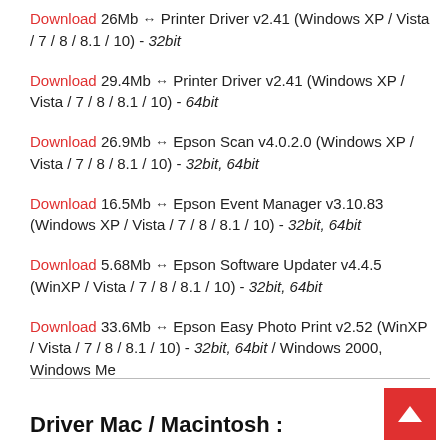Download 26Mb → Printer Driver v2.41 (Windows XP / Vista / 7 / 8 / 8.1 / 10) - 32bit
Download 29.4Mb → Printer Driver v2.41 (Windows XP / Vista / 7 / 8 / 8.1 / 10) - 64bit
Download 26.9Mb → Epson Scan v4.0.2.0 (Windows XP / Vista / 7 / 8 / 8.1 / 10) - 32bit, 64bit
Download 16.5Mb → Epson Event Manager v3.10.83 (Windows XP / Vista / 7 / 8 / 8.1 / 10) - 32bit, 64bit
Download 5.68Mb → Epson Software Updater v4.4.5 (WinXP / Vista / 7 / 8 / 8.1 / 10) - 32bit, 64bit
Download 33.6Mb → Epson Easy Photo Print v2.52 (WinXP / Vista / 7 / 8 / 8.1 / 10) - 32bit, 64bit / Windows 2000, Windows Me
Driver Mac / Macintosh :